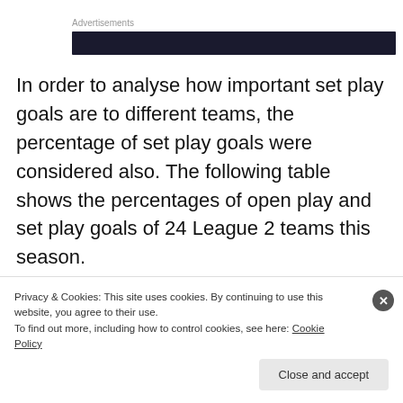Advertisements
In order to analyse how important set play goals are to different teams, the percentage of set play goals were considered also. The following table shows the percentages of open play and set play goals of 24 League 2 teams this season.
| Team | Open play | Set Play |
| --- | --- | --- |
Privacy & Cookies: This site uses cookies. By continuing to use this website, you agree to their use.
To find out more, including how to control cookies, see here: Cookie Policy